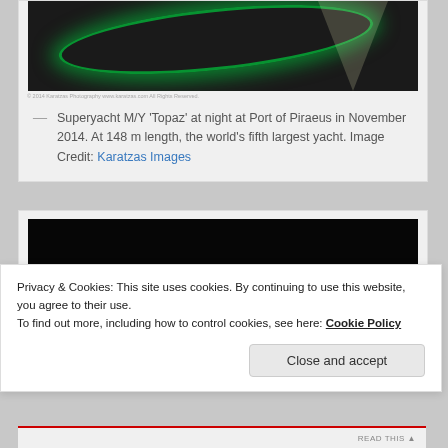[Figure (photo): Superyacht M/Y Topaz lit in green at night at Port of Piraeus, seen from the side with spotlight above.]
— Superyacht M/Y 'Topaz' at night at Port of Piraeus in November 2014. At 148 m length, the world's fifth largest yacht. Image Credit: Karatzas Images
[Figure (photo): Superyacht illuminated in blue/white at night with orange harbor lights visible in background.]
Privacy & Cookies: This site uses cookies. By continuing to use this website, you agree to their use.
To find out more, including how to control cookies, see here: Cookie Policy
Close and accept